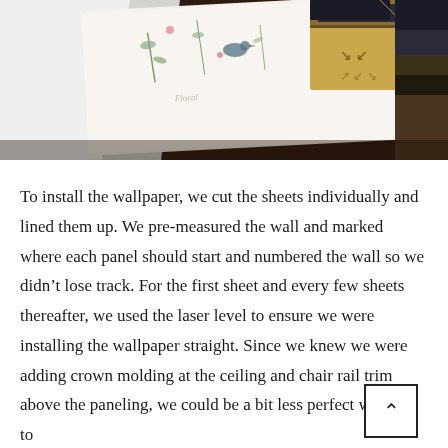[Figure (photo): Photo showing wallpaper sheets and packaging boxes on a dark wooden floor. The wallpaper has a delicate floral/botanical print with birds and plants on a white background. Several cardboard boxes are visible in the upper right.]
To install the wallpaper, we cut the sheets individually and lined them up. We pre-measured the wall and marked where each panel should start and numbered the wall so we didn't lose track. For the first sheet and every few sheets thereafter, we used the laser level to ensure we were installing the wallpaper straight. Since we knew we were adding crown molding at the ceiling and chair rail trim above the paneling, we could be a bit less perfect with our top bottom cuts.